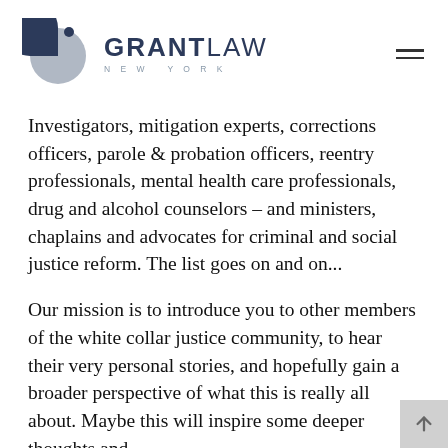[Figure (logo): Grant Law New York logo with pie-chart-style circular icon in navy and gray, alongside the text GRANTLAW NEW YORK]
Investigators, mitigation experts, corrections officers, parole & probation officers, reentry professionals, mental health care professionals, drug and alcohol counselors – and ministers, chaplains and advocates for criminal and social justice reform. The list goes on and on...
Our mission is to introduce you to other members of the white collar justice community, to hear their very personal stories, and hopefully gain a broader perspective of what this is really all about. Maybe this will inspire some deeper thoughts and